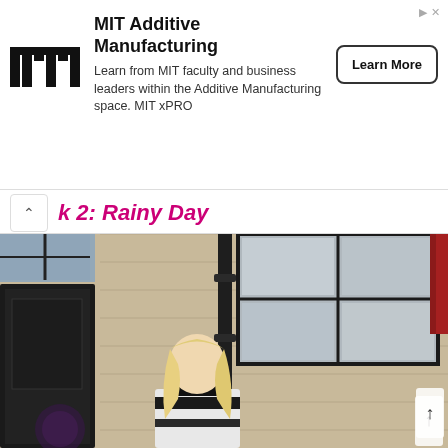[Figure (other): MIT Additive Manufacturing advertisement banner. MIT logo on left (white M, black bars spelling MIT), ad title 'MIT Additive Manufacturing', description text 'Learn from MIT faculty and business leaders within the Additive Manufacturing space. MIT xPRO', and a 'Learn More' button on the right. Small arrow and X icons top right.]
k 2: Rainy Day
[Figure (photo): Outdoor photo of a young blonde woman standing in front of a building with sandy/beige stone facade. She is wearing a black and white striped knit sweater. Behind her are black-framed windows and a black drainpipe running vertically. On the far right edge there is red fabric/awning. Bottom left shows a small circular logo/sticker partially visible.]